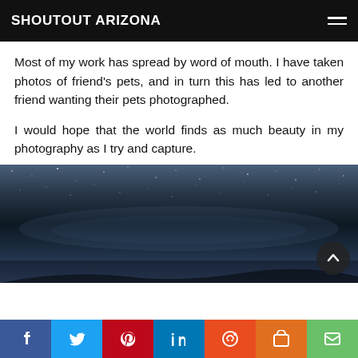SHOUTOUT ARIZONA
Most of my work has spread by word of mouth. I have taken photos of friend's pets, and in turn this has led to another friend wanting their pets photographed.
I would hope that the world finds as much beauty in my photography as I try and capture.
[Figure (photo): Night sky / Milky Way photograph showing stars and nebula against dark blue sky]
Social share bar: Facebook, Twitter, Pinterest, LinkedIn, Reddit, Mix, Email